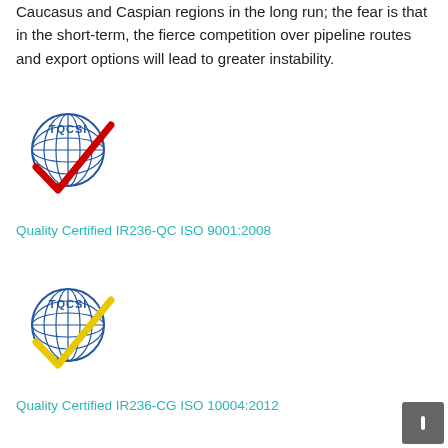Caucasus and Caspian regions in the long run; the fear is that in the short-term, the fierce competition over pipeline routes and export options will lead to greater instability.
[Figure (logo): TQCSI logo: globe with blue grid and blue TQCSI text, with a red checkmark overlaid]
Quality Certified IR236-QC ISO 9001:2008
[Figure (logo): TQCSI logo: globe with blue grid and blue TQCSI text, with a yellow checkmark overlaid]
Quality Certified IR236-CG ISO 10004:2012
[Figure (logo): TQCSI logo: globe with blue grid and blue TQCSI text, with a yellow checkmark overlaid (partially visible)]